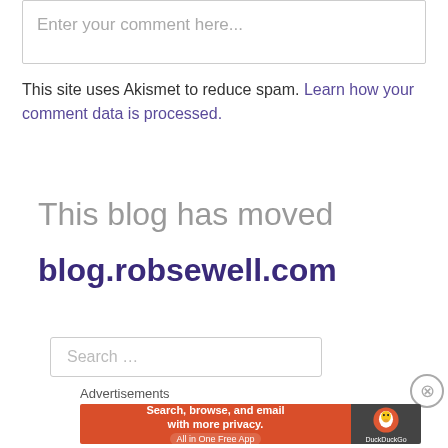Enter your comment here...
This site uses Akismet to reduce spam. Learn how your comment data is processed.
This blog has moved
blog.robsewell.com
Search ...
Advertisements
[Figure (other): DuckDuckGo advertisement banner: Search, browse, and email with more privacy. All in One Free App]
REPORT THIS AD